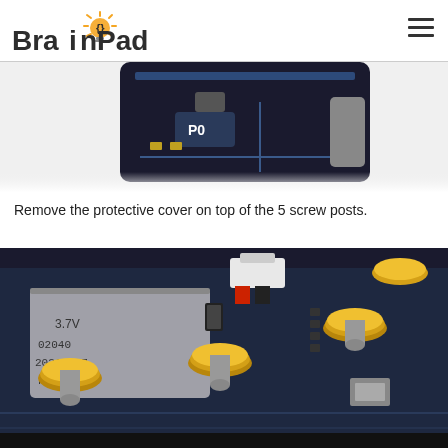BrainPad
[Figure (photo): Close-up of a BrainPad circuit board showing a connector labeled P0, partially cropped at top of page]
Remove the protective cover on top of the 5 screw posts.
[Figure (photo): Close-up of a BrainPad device with a 3.7V lithium battery labeled 02040 20210907 and three visible yellow-capped screw posts, plus a white battery connector]